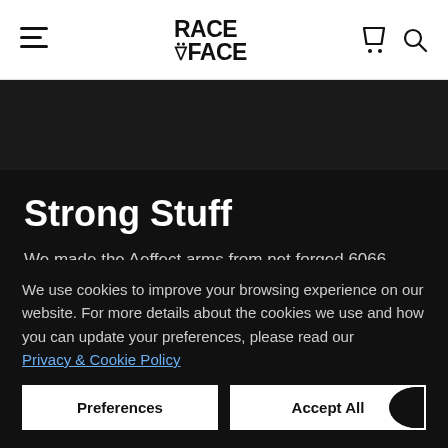Race Face navigation bar with hamburger menu, Race Face logo, cart and search icons
Strong Stuff
We made the Aeffect arms from net forged 6066 alloy
We use cookies to improve your browsing experience on our website. For more details about the cookies we use and how you can update your preferences, please read our Privacy & Cookie Policy
Preferences
Accept All